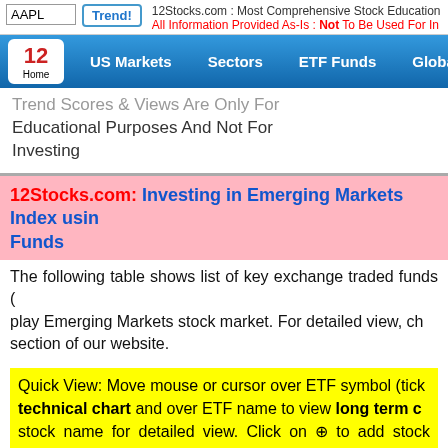AAPL  Trend!  12Stocks.com : Most Comprehensive Stock Education  All Information Provided As-Is : Not To Be Used For Investing
US Markets  Sectors  ETF Funds  Global Markets  Home
Trend Scores & Views Are Only For Educational Purposes And Not For Investing
12Stocks.com: Investing in Emerging Markets Index using Funds
The following table shows list of key exchange traded funds (ETFs) to play Emerging Markets stock market. For detailed view, check ETFs section of our website.
Quick View: Move mouse or cursor over ETF symbol (ticker) to view technical chart and over ETF name to view long term chart. Click on stock name for detailed view. Click on ⊕ to add stock symbol and ⓥ to view watchlist.
12Stocks.com List of ETFs that track Emerging Markets
| Ticker | ETF Name | Watchlist | Recent Price | Chart |
| --- | --- | --- | --- | --- |